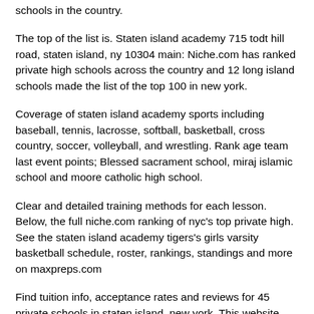schools in the country.
The top of the list is. Staten island academy 715 todt hill road, staten island, ny 10304 main: Niche.com has ranked private high schools across the country and 12 long island schools made the list of the top 100 in new york.
Coverage of staten island academy sports including baseball, tennis, lacrosse, softball, basketball, cross country, soccer, volleyball, and wrestling. Rank age team last event points; Blessed sacrament school, miraj islamic school and moore catholic high school.
Clear and detailed training methods for each lesson. Below, the full niche.com ranking of nyc's top private high. See the staten island academy tigers's girls varsity basketball schedule, roster, rankings, standings and more on maxpreps.com
Find tuition info, acceptance rates and reviews for 45 private schools in staten island, new york. This website provides useful information of studying abroad in main english countries such as the us, canada, the uk, australia and ireland in the main language areas.